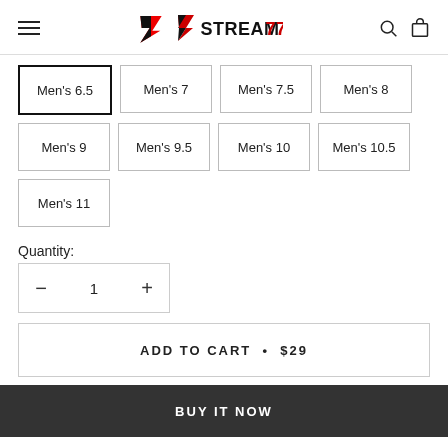STREAM77 — navigation header with hamburger menu, logo, search and cart icons
Men's 6.5 (selected)
Men's 7
Men's 7.5
Men's 8
Men's 9
Men's 9.5
Men's 10
Men's 10.5
Men's 11
Quantity:
— 1 +
ADD TO CART • $29
BUY IT NOW